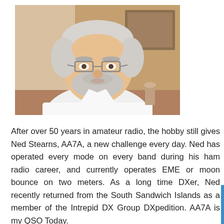[Figure (photo): Portrait photo of Ned Stearns, AA7A — a middle-aged to older man with white/grey hair and a white beard, wearing glasses and a white polo shirt, seated indoors with a wooden wall and artwork visible in the background.]
After over 50 years in amateur radio, the hobby still gives Ned Stearns, AA7A, a new challenge every day. Ned has operated every mode on every band during his ham radio career, and currently operates EME or moon bounce on two meters. As a long time DXer, Ned recently returned from the South Sandwich Islands as a member of the Intrepid DX Group DXpedition. AA7A is my QSO Today.